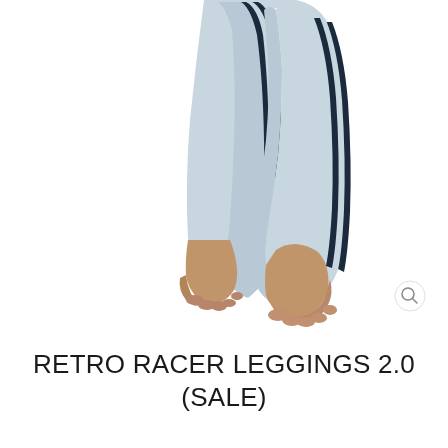[Figure (photo): Close-up photo of a person's lower legs and bare feet wearing light blue/grey athletic leggings with two navy/dark blue vertical stripes running down the side. The person is standing with one foot slightly raised on its toes. White background.]
RETRO RACER LEGGINGS 2.0 (SALE)